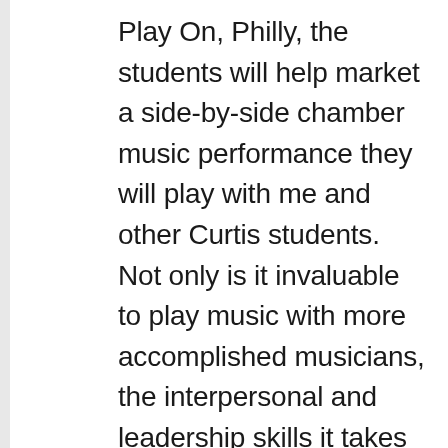Play On, Philly, the students will help market a side-by-side chamber music performance they will play with me and other Curtis students. Not only is it invaluable to play music with more accomplished musicians, the interpersonal and leadership skills it takes to present a concert are tremendous and fun.
I want to show the people I'm working with lacking a traditional musical education what classical music can be for them. By commissioning composers to write pieces for each group, I want